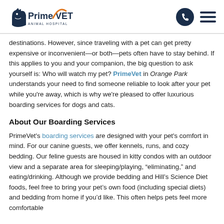PrimeVet Animal Hospital logo, phone icon, menu icon
destinations. However, since traveling with a pet can get pretty expensive or inconvenient—or both—pets often have to stay behind. If this applies to you and your companion, the big question to ask yourself is: Who will watch my pet? PrimeVet in Orange Park understands your need to find someone reliable to look after your pet while you're away, which is why we're pleased to offer luxurious boarding services for dogs and cats.
About Our Boarding Services
PrimeVet's boarding services are designed with your pet's comfort in mind. For our canine guests, we offer kennels, runs, and cozy bedding. Our feline guests are housed in kitty condos with an outdoor view and a separate area for sleeping/playing, "eliminating," and eating/drinking. Although we provide bedding and Hill's Science Diet foods, feel free to bring your pet's own food (including special diets) and bedding from home if you'd like. This often helps pets feel more comfortable